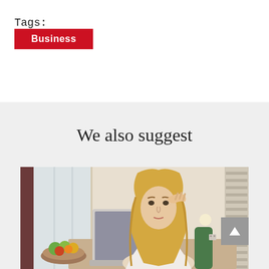Tags:
Business
We also suggest
[Figure (photo): A stressed blonde woman sitting at a desk with a laptop, resting her hand on her forehead, with a bowl of fruit visible in the foreground and windows in the background.]